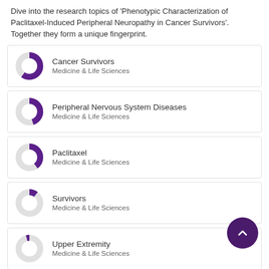Dive into the research topics of 'Phenotypic Characterization of Paclitaxel-Induced Peripheral Neuropathy in Cancer Survivors'. Together they form a unique fingerprint.
[Figure (donut-chart): Donut chart ~85% filled purple]
Cancer Survivors
Medicine & Life Sciences
[Figure (donut-chart): Donut chart ~70% filled purple]
Peripheral Nervous System Diseases
Medicine & Life Sciences
[Figure (donut-chart): Donut chart ~65% filled purple]
Paclitaxel
Medicine & Life Sciences
[Figure (donut-chart): Donut chart ~35% filled purple]
Survivors
Medicine & Life Sciences
[Figure (donut-chart): Donut chart ~20% filled purple]
Upper Extremity
Medicine & Life Sciences